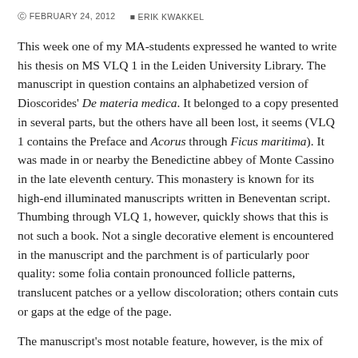FEBRUARY 24, 2012  ERIK KWAKKEL
This week one of my MA-students expressed he wanted to write his thesis on MS VLQ 1 in the Leiden University Library. The manuscript in question contains an alphabetized version of Dioscorides' De materia medica. It belonged to a copy presented in several parts, but the others have all been lost, it seems (VLQ 1 contains the Preface and Acorus through Ficus maritima). It was made in or nearby the Benedictine abbey of Monte Cassino in the late eleventh century. This monastery is known for its high-end illuminated manuscripts written in Beneventan script. Thumbing through VLQ 1, however, quickly shows that this is not such a book. Not a single decorative element is encountered in the manuscript and the parchment is of particularly poor quality: some folia contain pronounced follicle patterns, translucent patches or a yellow discoloration; others contain cuts or gaps at the edge of the page.
The manuscript's most notable feature, however, is the mix of